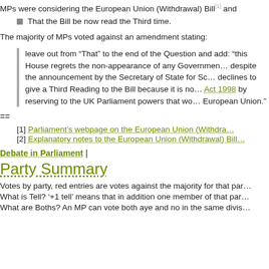MPs were considering the European Union (Withdrawal) Bill[1] and
That the Bill be now read the Third time.
The majority of MPs voted against an amendment stating:
leave out from “That” to the end of the Question and add: “this House regrets the non-appearance of any Government despite the announcement by the Secretary of State for Scotland; declines to give a Third Reading to the Bill because it is not Act 1998 by reserving to the UK Parliament powers that wo European Union.”
==
[1] Parliament's webpage on the European Union (Withdrawal)
[2] Explanatory notes to the European Union (Withdrawal) Bill
Debate in Parliament |
Party Summary
Votes by party, red entries are votes against the majority for that par
What is Tell? '+1 tell' means that in addition one member of that par
What are Boths? An MP can vote both aye and no in the same divis